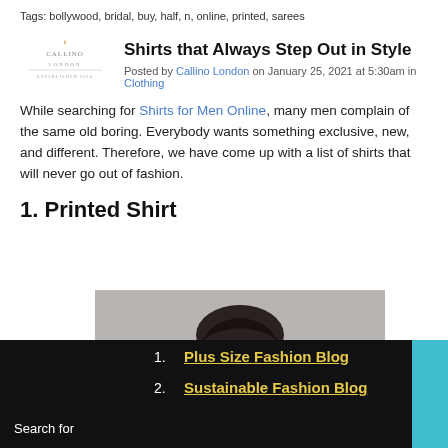Tags: bollywood, bridal, buy, half, n, online, printed, sarees
Shirts that Always Step Out in Style
Posted by Callino London on January 25, 2021 at 5:30am in Clothing
While searching for Shirts for Men Online, many men complain of the same old boring. Everybody wants something exclusive, new, and different. Therefore, we have come up with a list of shirts that will never go out of fashion.
1. Printed Shirt
[Figure (photo): Top portion of a man's head with styled dark hair against a grey background]
Search for
Plus Size Fashion Blog
Sustainable Fashion Blog